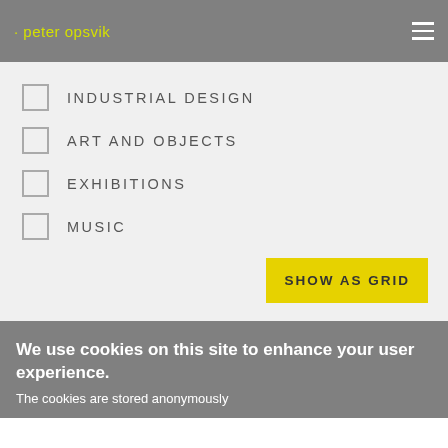· peter opsvik
INDUSTRIAL DESIGN
ART AND OBJECTS
EXHIBITIONS
MUSIC
SHOW AS GRID
We use cookies on this site to enhance your user experience. The cookies are stored anonymously